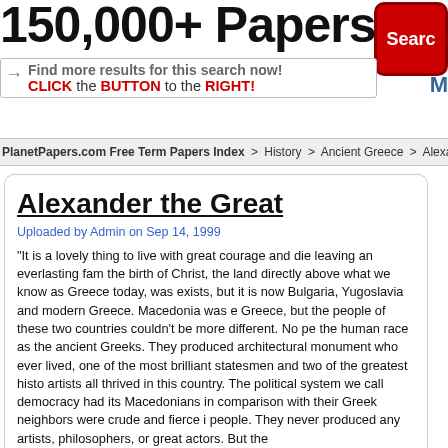150,000+ Papers
[Figure (other): Red search button with text 'Searc']
Find more results for this search now!
CLICK the BUTTON to the RIGHT!
M
PlanetPapers.com Free Term Papers Index > History > Ancient Greece > Alexander the Great
Alexander the Great
Uploaded by Admin on Sep 14, 1999
"It is a lovely thing to live with great courage and die leaving an everlasting fam... the birth of Christ, the land directly above what we know as Greece today, was... exists, but it is now Bulgaria, Yugoslavia and modern Greece. Macedonia was e... Greece, but the people of these two countries couldn't be more different. No pe... the human race as the ancient Greeks. They produced architectural monument... who ever lived, one of the most brilliant statesmen and two of the greatest histo... artists all thrived in this country. The political system we call democracy had its... Macedonians in comparison with their Greek neighbors were crude and fierce i... people. They never produced any artists, philosophers, or great actors. But th...